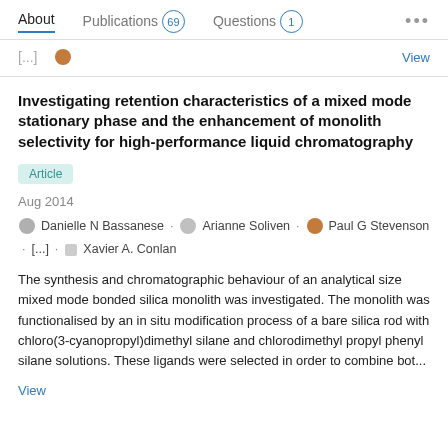About  Publications 69  Questions 1  ...
View
Investigating retention characteristics of a mixed mode stationary phase and the enhancement of monolith selectivity for high-performance liquid chromatography
Article
Aug 2014
Danielle N Bassanese · Arianne Soliven · Paul G Stevenson · [...] · Xavier A. Conlan
The synthesis and chromatographic behaviour of an analytical size mixed mode bonded silica monolith was investigated. The monolith was functionalised by an in situ modification process of a bare silica rod with chloro(3-cyanopropyl)dimethyl silane and chlorodimethyl propyl phenyl silane solutions. These ligands were selected in order to combine bot...
View